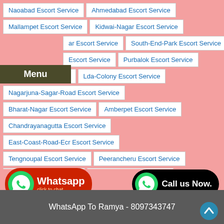Naoabad Escort Service | Ahmedabad Escort Service
Mallampet Escort Service | Kidwai-Nagar Escort Service
ar Escort Service | South-End-Park Escort Service
Escort Service | Purbalok Escort Service
Sangli Escort Service | Lda-Colony Escort Service
Nagarjuna-Sagar-Road Escort Service
Bharat-Nagar Escort Service | Amberpet Escort Service
Chandrayanagutta Escort Service
East-Coast-Road-Ecr Escort Service
Tengnoupal Escort Service | Peerancheru Escort Service
Saidabad Escort Service | Kidderpore Escort Service
Surakuppam Escort Service | Fatehpur-Beri Escort Service
Menu
Whatsapp click to chat
Call us Now.
Call Ramya Now - 8097343747
WhatsApp To Ramya - 8097343747